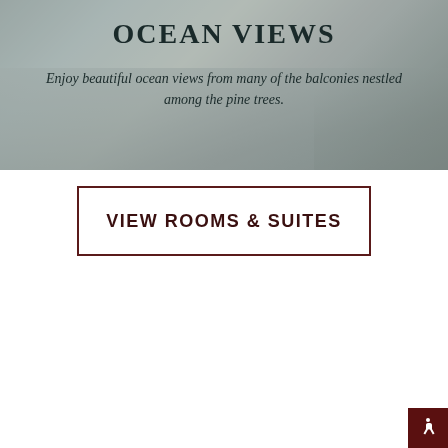[Figure (photo): Aerial/elevated view of lodge balconies and pine trees with ocean in background. Semi-transparent gray overlay with text overlay.]
OCEAN VIEWS
Enjoy beautiful ocean views from many of the balconies nestled among the pine trees.
VIEW ROOMS & SUITES
[Figure (photo): Sky with clouds and pine trees in lower right, scenic coastal landscape photo.]
SCENIC WALKS
Enjoy a walk to the beach in 5 minutes or explore downtown Pacific Grove just a half-mile away from The Lodge.